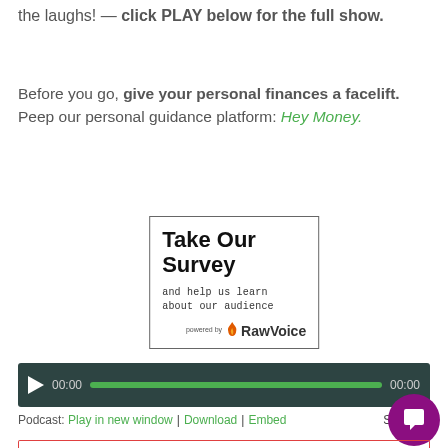the laughs! — click PLAY below for the full show.
Before you go, give your personal finances a facelift. Peep our personal guidance platform: Hey Money.
[Figure (infographic): Take Our Survey box — bordered rectangle with bold title 'Take Our Survey', subtitle 'and help us learn about our audience', powered by RawVoice logo]
[Figure (screenshot): Audio player bar with play button, 00:00 timestamps, green progress bar, dark green background]
Podcast: Play in new window | Download | Embed   Subscribe